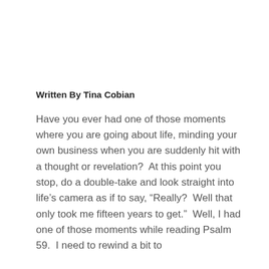Written By Tina Cobian
Have you ever had one of those moments where you are going about life, minding your own business when you are suddenly hit with a thought or revelation?  At this point you stop, do a double-take and look straight into life's camera as if to say, "Really?  Well that only took me fifteen years to get."  Well, I had one of those moments while reading Psalm 59.  I need to rewind a bit to